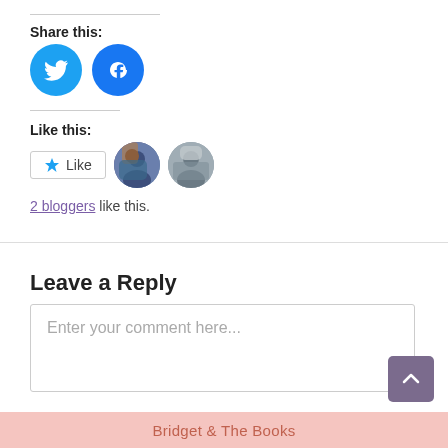Share this:
[Figure (illustration): Twitter and Facebook circular share icons in blue]
Like this:
[Figure (illustration): Like button with star icon and two blogger avatar thumbnails]
2 bloggers like this.
Leave a Reply
Enter your comment here...
Bridget & The Books